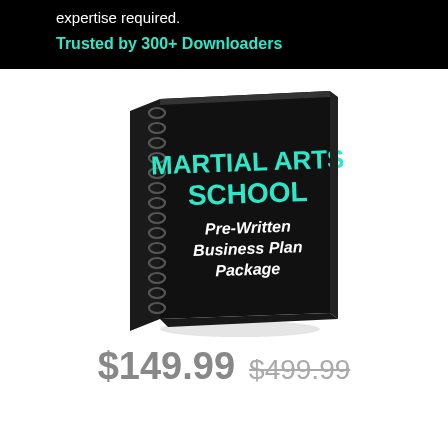expertise required.
Trusted by 300+ Downloaders
[Figure (illustration): Spiral-bound notebook with black cover. Cover text reads: MARTIAL ARTS SCHOOL (in teal/cyan bold font), Pre-Written Business Plan Package (in white bold italic font). Notebook is shown at a slight angle with spiral binding on the left side.]
$149.99 $499.99